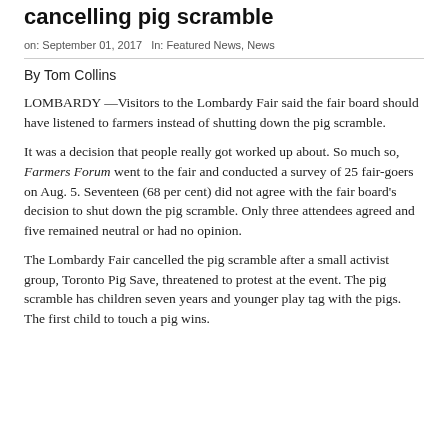cancelling pig scramble
on: September 01, 2017   In: Featured News, News
By Tom Collins
LOMBARDY —Visitors to the Lombardy Fair said the fair board should have listened to farmers instead of shutting down the pig scramble.
It was a decision that people really got worked up about. So much so, Farmers Forum went to the fair and conducted a survey of 25 fair-goers on Aug. 5. Seventeen (68 per cent) did not agree with the fair board's decision to shut down the pig scramble. Only three attendees agreed and five remained neutral or had no opinion.
The Lombardy Fair cancelled the pig scramble after a small activist group, Toronto Pig Save, threatened to protest at the event. The pig scramble has children seven years and younger play tag with the pigs. The first child to touch a pig wins.